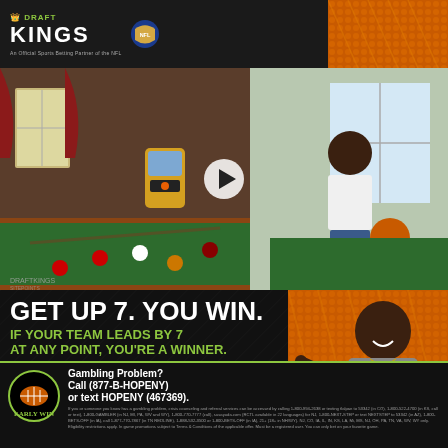[Figure (logo): DraftKings NFL official sports betting partner logo on dark banner]
[Figure (photo): Video thumbnail of Kevin Hart in a game room with pool table, jukebox, basketball. Play button overlay. Draftkings branding.]
GET UP 7. YOU WIN.
IF YOUR TEAM LEADS BY 7 AT ANY POINT, YOU'RE A WINNER.
BET NOW
[Figure (photo): Kevin Hart smiling, wearing DraftKings branded t-shirt, pointing, on orange background]
[Figure (logo): DraftKings Early Win promo logo]
Gambling Problem? Call (877-B-HOPENY) or text HOPENY (467369).
If you or someone you know has a gambling problem, crisis counseling and referral services can be accessed by calling 1-800-994-2638 or texting tlalpan to 53342 (in CO), 1-800-522-4700 (in KS, call or text), 1-800-GAMBLER (in NJ, MI, PA, WV and WY), 1-800-770-7777 (call), susayuda.com (RCTL available in 22 languages) for NJ, 1-800-NEXT-STEP or text NEXTSTEP to 53342 (in AZ), 1-800-BETS-OFF (in IA), call 1-877-770-7867 (in TN REDLINE), 1-888-532-3500 or 1-800-BETS-OFF (in IA), 21+ (18+ in NH/WY). NJ, CO, IA, IL, IN, KS, LA, Mi, MS, NJ, OH, PA, TN, VA, WV, WY only. Eligibility restrictions apply. In game promotions subject to Terms & Conditions of the applicable offer. Must be a registered user. You can only bet on your favorite game. Contact us: by visiting the Terms of offer.